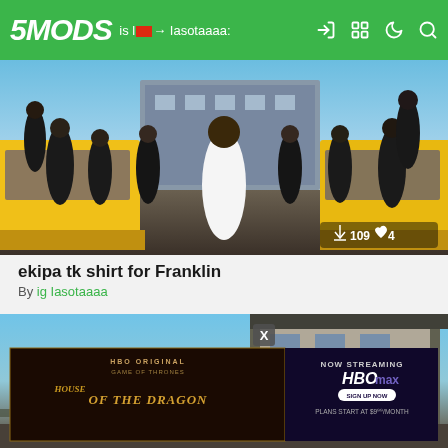5MODS — ig Iasotaaaa:
[Figure (screenshot): GTA V mod screenshot showing Franklin character in white t-shirt surrounded by police officers in tactical gear, with yellow school buses in background. Download count: 109, Likes: 4.]
ekipa tk shirt for Franklin
By ig Iasotaaaa
[Figure (screenshot): GTA V screenshot of a modern house/building exterior with blue sky, overlaid with HBO Max advertisement for House of the Dragon. NOW STREAMING HBOMAX SIGN UP NOW PLANS START AT $9.99/MONTH]